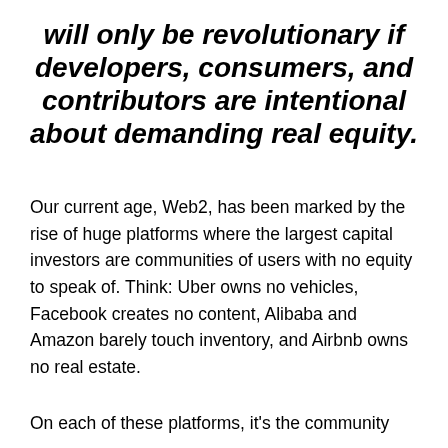will only be revolutionary if developers, consumers, and contributors are intentional about demanding real equity.
Our current age, Web2, has been marked by the rise of huge platforms where the largest capital investors are communities of users with no equity to speak of. Think: Uber owns no vehicles, Facebook creates no content, Alibaba and Amazon barely touch inventory, and Airbnb owns no real estate.
On each of these platforms, it's the community